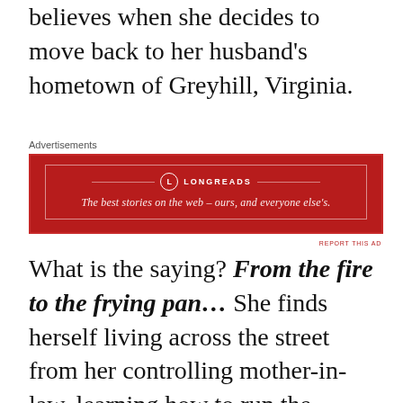believes when she decides to move back to her husband's hometown of Greyhill, Virginia.
[Figure (other): Longreads advertisement banner with dark red background. Header shows Longreads logo with text 'LONGREADS' and tagline 'The best stories on the web – ours, and everyone else's.']
What is the saying? From the fire to the frying pan... She finds herself living across the street from her controlling mother-in-law, learning how to run the family's Inn, her teenage twins trying to fit in at the elite private school, and  battling some women who don't mind spreading rumours.